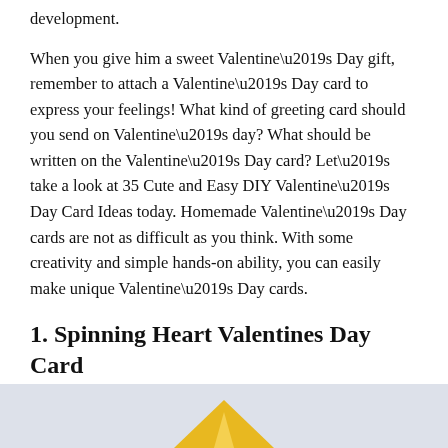development.
When you give him a sweet Valentine’s Day gift, remember to attach a Valentine’s Day card to express your feelings! What kind of greeting card should you send on Valentine’s day? What should be written on the Valentine’s Day card? Let’s take a look at 35 Cute and Easy DIY Valentine’s Day Card Ideas today. Homemade Valentine’s Day cards are not as difficult as you think. With some creativity and simple hands-on ability, you can easily make unique Valentine’s Day cards.
1. Spinning Heart Valentines Day Card
[Figure (photo): Partial view of a Valentine's Day card craft image showing a yellow/gold diamond shape on a light gray/blue background.]